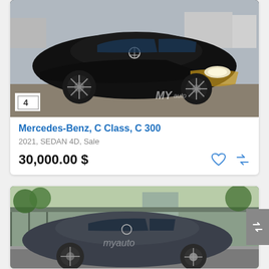[Figure (photo): Black Mercedes-Benz C300 sedan with front-end damage, photographed in a yard. Watermark 'MY auto' visible. Photo count badge showing '4'.]
Mercedes-Benz, C Class, C 300
2021, SEDAN 4D, Sale
30,000.00 $
[Figure (photo): Dark grey Mercedes-Benz C-Class sedan parked on a street with fence and trees in background. Myauto watermark on image.]